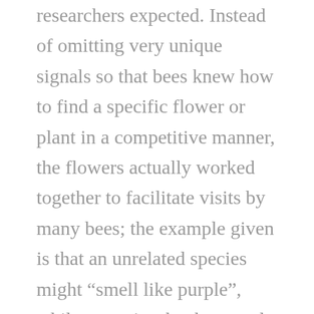researchers expected. Instead of omitting very unique signals so that bees knew how to find a specific flower or plant in a competitive manner, the flowers actually worked together to facilitate visits by many bees; the example given is that an unrelated species might “smell like purple”, while a species that has a red colouring might share another scent. The data analysed by Kantsa and Dyer suggests that flowers are more attractive to bees if they work together and omit a set of reliable signals, instead of unique ones that might help a certain plant species outdo others in the field (pun intended). Interesting stuff!